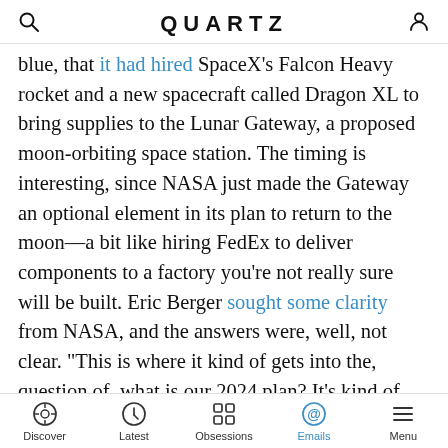QUARTZ
blue, that it had hired SpaceX's Falcon Heavy rocket and a new spacecraft called Dragon XL to bring supplies to the Lunar Gateway, a proposed moon-orbiting space station. The timing is interesting, since NASA just made the Gateway an optional element in its plan to return to the moon—a bit like hiring FedEx to deliver components to a factory you're not really sure will be built. Eric Berger sought some clarity from NASA, and the answers were, well, not clear. "This is where it kind of gets into the, question of, what is our 2024 plan? It's kind of still in the works," says Dan Hartman, the Gateway program manager, when asked about the timing of all this. Meanwhile, SpaceX won't answer any questions about the mooted Dragon XL, which will likely require years of design and testing before it can fly.
Discover | Latest | Obsessions | Emails | Menu